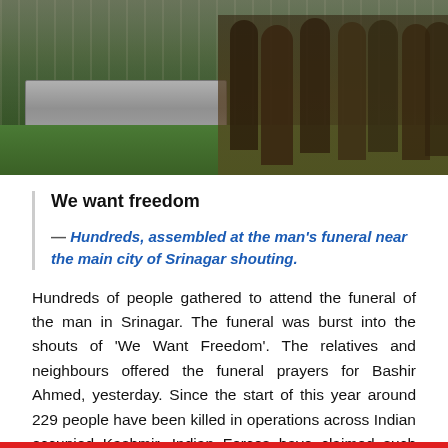[Figure (photo): Photo showing a funeral scene outdoors on grass — a metal coffin/stretcher visible on the left, and a group of people standing on the right side.]
We want freedom
— Hundreds, assembled at the man's funeral near the main city of Srinagar shouting.
Hundreds of people gathered to attend the funeral of the man in Srinagar. The funeral was burst into the shouts of 'We Want Freedom'. The relatives and neighbours offered the funeral prayers for Bashir Ahmed, yesterday. Since the start of this year around 229 people have been killed in operations across Indian occupied Kashmir. Indian Forces have claimed such atrocities on the people of Kashmir, killing innocent men and women.